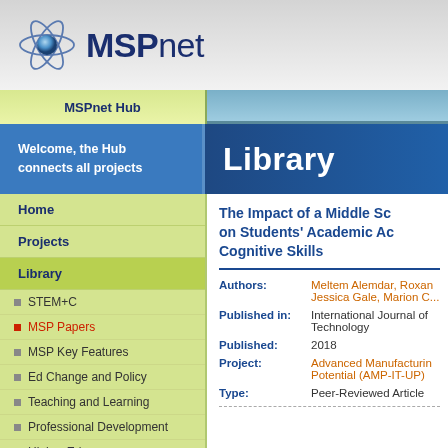[Figure (logo): MSPnet logo with atom icon and text]
MSPnet Hub
Welcome, the Hub connects all projects
Library
Home
Projects
Library
STEM+C
MSP Papers
MSP Key Features
Ed Change and Policy
Teaching and Learning
Professional Development
Higher Ed
Voices from the Field
The Impact of a Middle School Intervention on Students' Academic Achievement and Cognitive Skills
| Label | Value |
| --- | --- |
| Authors: | Meltem Alemdar, Roxan..., Jessica Gale, Marion C... |
| Published in: | International Journal of ... Technology |
| Published: | 2018 |
| Project: | Advanced Manufacturing... Potential (AMP-IT-UP) |
| Type: | Peer-Reviewed Article |